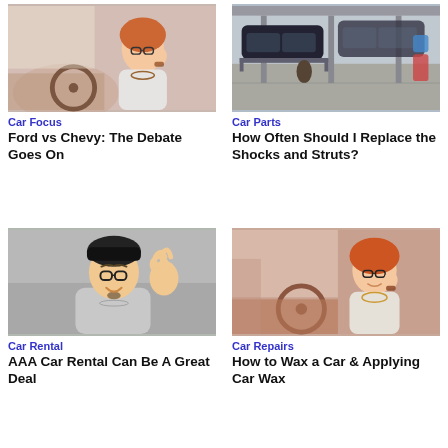[Figure (photo): Woman with glasses sitting in driver's seat of a car, hand near face]
Car Focus
Ford vs Chevy: The Debate Goes On
[Figure (photo): Auto repair garage with cars lifted on hydraulic hoists]
Car Parts
How Often Should I Replace the Shocks and Struts?
[Figure (photo): Young Asian man with glasses making OK gesture, excited expression]
Car Rental
AAA Car Rental Can Be A Great Deal
[Figure (photo): Woman with glasses sitting in driver's seat of a car, hand near face]
Car Repairs
How to Wax a Car & Applying Car Wax